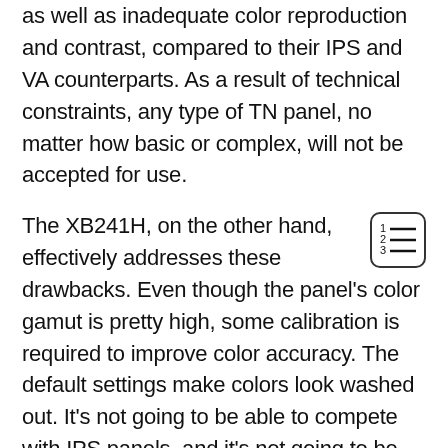as well as inadequate color reproduction and contrast, compared to their IPS and VA counterparts. As a result of technical constraints, any type of TN panel, no matter how basic or complex, will not be accepted for use.
The XB241H, on the other hand, effectively addresses these drawbacks. Even though the panel's color gamut is pretty high, some calibration is required to improve color accuracy. The default settings make colors look washed out. It's not going to be able to compete with IPS panels, and it's not going to be appealing to professionals, but it's perfect for gamers.